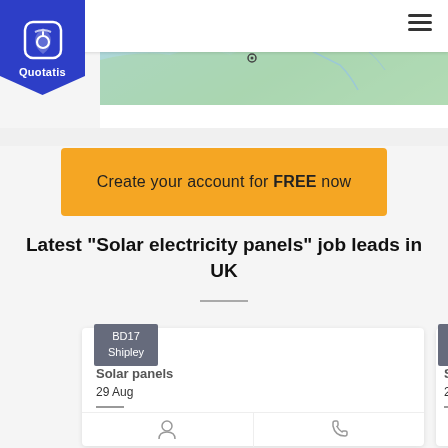Quotatis
[Figure (map): Map showing part of Europe with Paris labeled]
Create your account for FREE now
Latest "Solar electricity panels" job leads in UK
BD17 Shipley — Solar panels — 29 Aug
B New... — Solar p... — 29 Aug